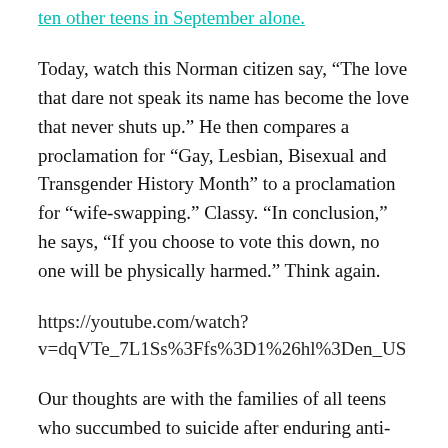ten other teens in September alone.
Today, watch this Norman citizen say, “The love that dare not speak its name has become the love that never shuts up.” He then compares a proclamation for “Gay, Lesbian, Bisexual and Transgender History Month” to a proclamation for “wife-swapping.” Classy. “In conclusion,” he says, “If you choose to vote this down, no one will be physically harmed.” Think again.
https://youtube.com/watch?v=dqVTe_7L1Ss%3Ffs%3D1%26hl%3Den_US
Our thoughts are with the families of all teens who succumbed to suicide after enduring anti-gay hate. It is my hope that all the people who had a hand in